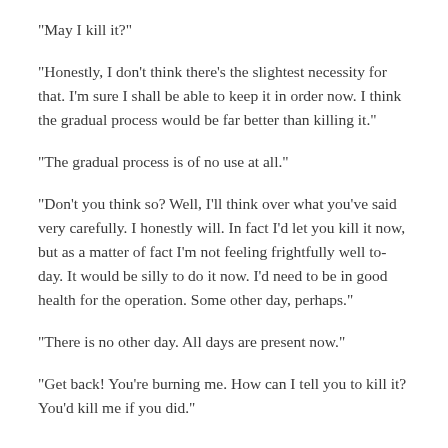"May I kill it?"
"Honestly, I don't think there's the slightest necessity for that. I'm sure I shall be able to keep it in order now. I think the gradual process would be far better than killing it."
"The gradual process is of no use at all."
"Don't you think so? Well, I'll think over what you've said very carefully. I honestly will. In fact I'd let you kill it now, but as a matter of fact I'm not feeling frightfully well to-day. It would be silly to do it now. I'd need to be in good health for the operation. Some other day, perhaps."
"There is no other day. All days are present now."
"Get back! You're burning me. How can I tell you to kill it? You'd kill me if you did."